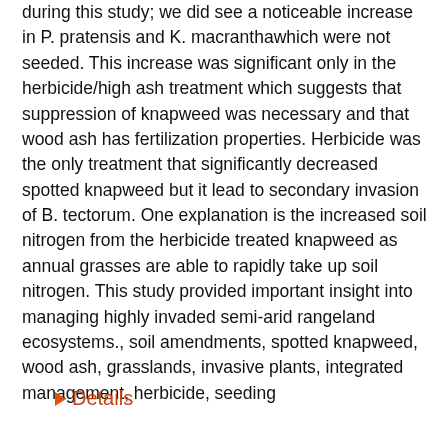during this study; we did see a noticeable increase in P. pratensis and K. macranthawhich were not seeded. This increase was significant only in the herbicide/high ash treatment which suggests that suppression of knapweed was necessary and that wood ash has fertilization properties. Herbicide was the only treatment that significantly decreased spotted knapweed but it lead to secondary invasion of B. tectorum. One explanation is the increased soil nitrogen from the herbicide treated knapweed as annual grasses are able to rapidly take up soil nitrogen. This study provided important insight into managing highly invaded semi-arid rangeland ecosystems., soil amendments, spotted knapweed, wood ash, grasslands, invasive plants, integrated management, herbicide, seeding
Details